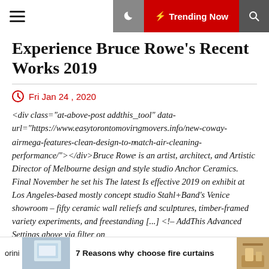⚡ Trending Now
Experience Bruce Rowe's Recent Works 2019
Fri Jan 24 , 2020
<div class="at-above-post addthis_tool" data-url="https://www.easytorontomovingmovers.info/new-coway-airmega-features-clean-design-to-match-air-cleaning-performance/"></div>Bruce Rowe is an artist, architect, and Artistic Director of Melbourne design and style studio Anchor Ceramics. Final November he set his The latest Is effective 2019 on exhibit at Los Angeles-based mostly concept studio Stahl+Band's Venice showroom – fifty ceramic wall reliefs and sculptures, timber-framed variety experiments, and freestanding [...] <!-- AddThis Advanced Settings above via filter on
orini  7 Reasons why choose fire curtains